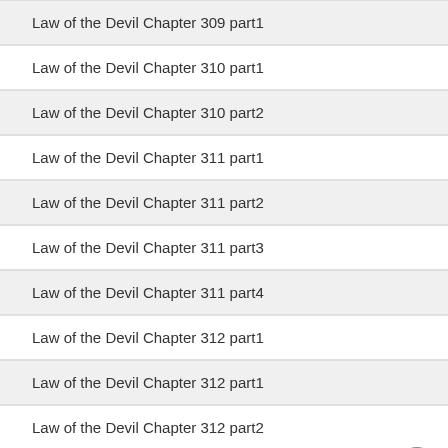Law of the Devil Chapter 309 part1
Law of the Devil Chapter 310 part1
Law of the Devil Chapter 310 part2
Law of the Devil Chapter 311 part1
Law of the Devil Chapter 311 part2
Law of the Devil Chapter 311 part3
Law of the Devil Chapter 311 part4
Law of the Devil Chapter 312 part1
Law of the Devil Chapter 312 part1
Law of the Devil Chapter 312 part2
Law of the Devil Chapter 313 part1